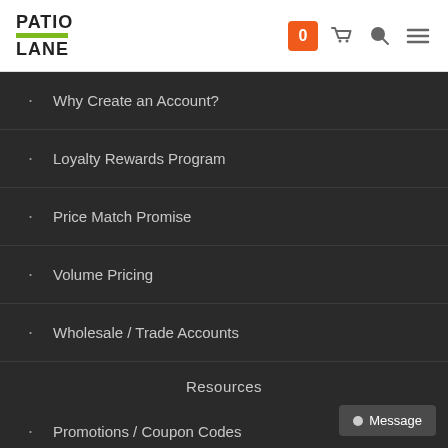PATIO LANE — header with cart icon, search icon, menu icon
Why Create an Account?
Loyalty Rewards Program
Price Match Promise
Volume Pricing
Wholesale / Trade Accounts
Resources
Promotions / Coupon Codes
Shipping Rates / Times